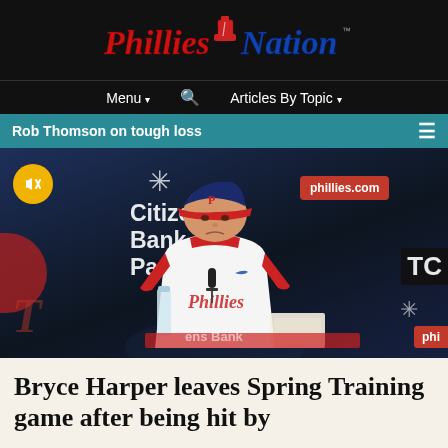[Figure (logo): Phillies Nation website logo in red cursive script with Liberty Bell icon on black background]
Menu ▾   🔍   Articles By Topic ▾
Rob Thomson on tough loss  ☰
[Figure (photo): Video thumbnail showing Phillies manager Rob Thomson sitting at a press conference podium at Citizens Bank Park, wearing a white Phillies uniform and blue cap with red brim. Background shows Citizens Bank Park and phillies.com signage. A yellow mute button is visible in the upper left of the video player.]
Bryce Harper leaves Spring Training game after being hit by